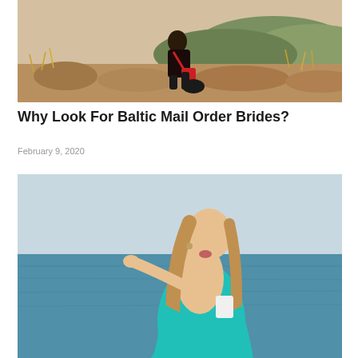[Figure (photo): A young woman in dark floral clothing with a red strap bag sitting on rocks in a dry, natural landscape with golden grasses and hills in the background.]
Why Look For Baltic Mail Order Brides?
February 9, 2020
[Figure (photo): A young blonde woman in a teal/turquoise dress posing near water, blowing a kiss toward the camera with long hair flowing.]